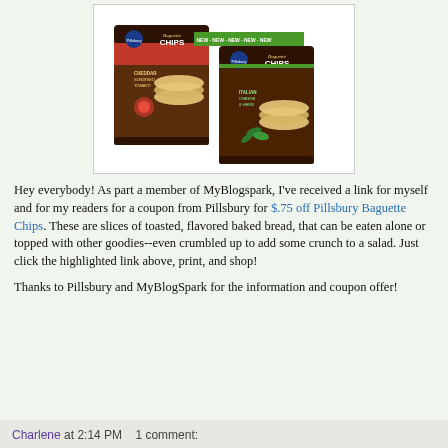[Figure (photo): Two bags of Pillsbury Baguette Chips — one Cheddar Sundried Tomato flavor and one Italian Cheese & Herb flavor (labeled NEW), displayed against a white background]
Hey everybody!  As part a member of MyBlogspark, I've received a link for myself and for my readers for a coupon from Pillsbury for $.75 off Pillsbury Baguette Chips.  These are slices of toasted, flavored baked bread, that can be eaten alone or topped with other goodies--even crumbled up to add some crunch to a salad.  Just click the highlighted link above, print, and shop!
Thanks to Pillsbury and MyBlogSpark for the information and coupon offer!
Charlene at 2:14 PM   1 comment: